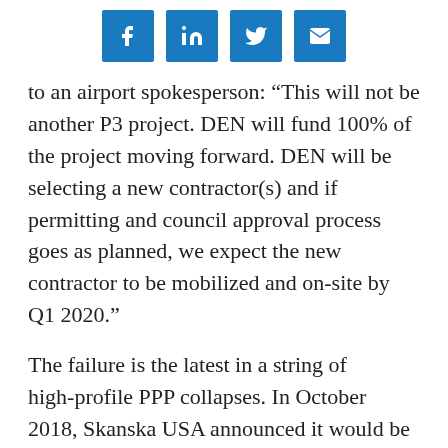[Figure (other): Social media share icons: Facebook, LinkedIn, Twitter, Email]
to an airport spokesperson: “This will not be another P3 project. DEN will fund 100% of the project moving forward. DEN will be selecting a new contractor(s) and if permitting and council approval process goes as planned, we expect the new contractor to be mobilized and on-site by Q1 2020.”
The failure is the latest in a string of high-profile PPP collapses. In October 2018, Skanska USA announced it would be leaving the U.S. PPP market. In 2019, Granite Construction CEO James Roberts announced that the company intended to